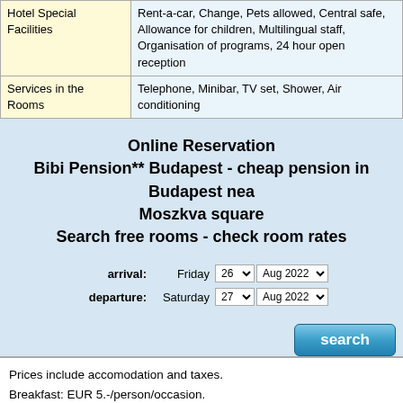| Hotel Special Facilities |  |
| --- | --- |
| Hotel Special Facilities | Rent-a-car, Change, Pets allowed, Central safe, Allowance for children, Multilingual staff, Organisation of programs, 24 hour open reception |
| Services in the Rooms | Telephone, Minibar, TV set, Shower, Air conditioning |
Online Reservation
Bibi Pension** Budapest - cheap pension in Budapest near Moszkva square
Search free rooms - check room rates
arrival: Friday 26 Aug 2022
departure: Saturday 27 Aug 2022
search
Prices include accomodation and taxes.
Breakfast: EUR 5.-/person/occasion.
Discounts for children: up to 3 years free of charge.
Payment methods: cash (HUF, USD, EUR), credit card, bank transfer